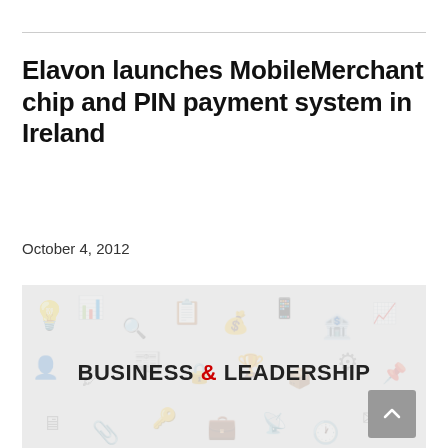Elavon launches MobileMerchant chip and PIN payment system in Ireland
October 4, 2012
[Figure (logo): Business & Leadership logo on a light grey background with faint business-themed icon watermarks]